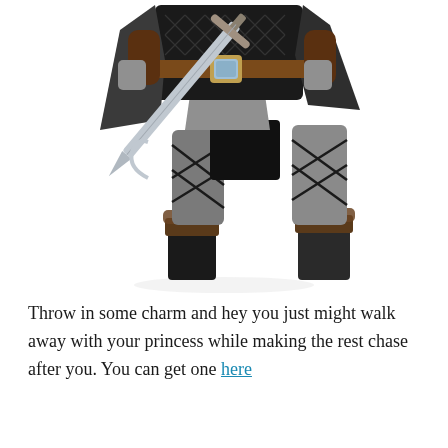[Figure (photo): A person wearing a medieval knight/king costume from the torso down, including a black quilted tunic, grey armor pieces, a brown leather belt with a decorative buckle, a dark cape, grey cross-laced leggings, fur-trimmed ankle boots, and holding a large silver sword. White background.]
Throw in some charm and hey you just might walk away with your princess while making the rest chase after you. You can get one here